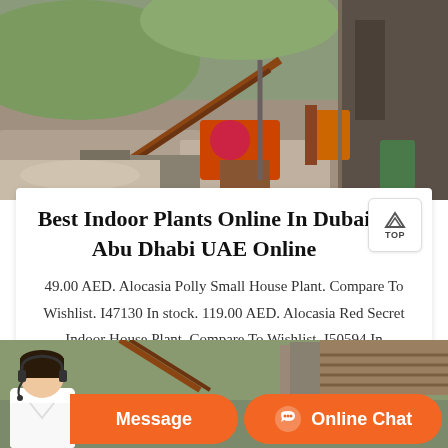[Figure (photo): Aerial/overhead view of industrial mining or quarry equipment and machinery including crushers, conveyors and processing plant on rocky terrain]
Best Indoor Plants Online In Dubai Abu Dhabi UAE Online
49.00 AED. Alocasia Polly Small House Plant. Compare To Wishlist. I47130 In stock. 119.00 AED. Alocasia Red Secret Indoor House Plant. Compare To Wishlist. I50594 In
[Figure (photo): Bottom section showing industrial equipment photo in background with customer service person with headset on left, and two orange buttons: Message and Online Chat]
Message
Online Chat